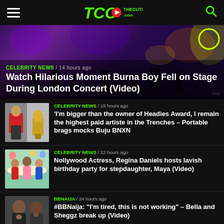TheCuteCeleb.com
[Figure (photo): Hero image of a concert scene with purple/blue stage lighting and performers]
CELEBRITY NEWS / 14 hours ago
Watch Hilarious Moment Burna Boy Fell on Stage During London Concert (Video)
[Figure (photo): Thumbnail image of Portable and Buju BNXN]
CELEBRITY NEWS / 15 hours ago
'I'm bigger than the owner of Headies Award, I remain the highest paid artiste in the Trenches – Portable brags mocks Buju BNXN
[Figure (photo): Thumbnail image of Regina Daniels at a birthday party]
CELEBRITY NEWS / 22 hours ago
Nollywood Actress, Regina Daniels hosts lavish birthday party for stepdaughter, Maya (Video)
[Figure (photo): Thumbnail image of Bella and Sheggz]
BBNAIJA / 24 hours ago
#BBNaija: "I'm tired, this is not working" – Bella and Sheggz break up (Video)